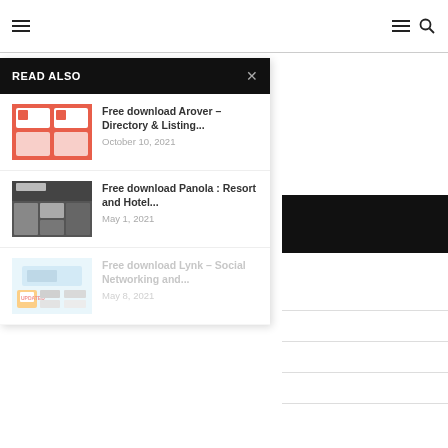Navigation header with hamburger menu and search icon
READ ALSO
Free download Arover – Directory & Listing...
October 10, 2021
Free download Panola : Resort and Hotel...
May 1, 2021
Free download Lynk – Social Networking and...
May 8, 2021